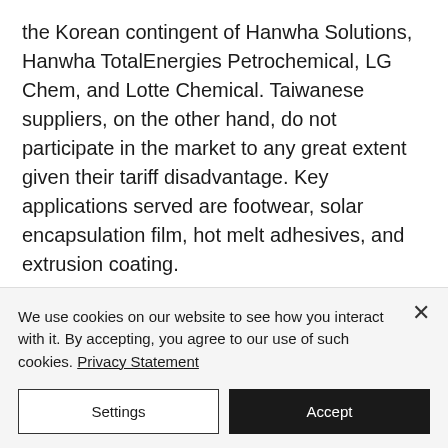the Korean contingent of Hanwha Solutions, Hanwha TotalEnergies Petrochemical, LG Chem, and Lotte Chemical. Taiwanese suppliers, on the other hand, do not participate in the market to any great extent given their tariff disadvantage. Key applications served are footwear, solar encapsulation film, hot melt adhesives, and extrusion coating.

The situation for LDPE contrasts that
We use cookies on our website to see how you interact with it. By accepting, you agree to our use of such cookies. Privacy Statement
Settings
Accept